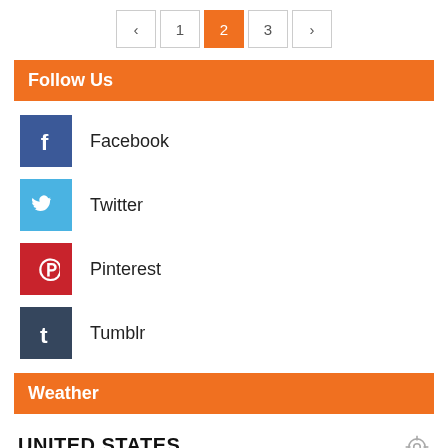< 1 2 3 >
Follow Us
Facebook
Twitter
Pinterest
Tumblr
Weather
UNITED STATES
Clear Sky